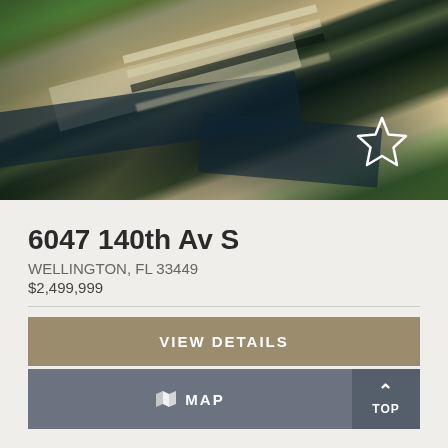[Figure (photo): Aerial view of a land parcel in Wellington, FL showing canals, sandy terrain, road, and surrounding vegetation]
6047 140th Av S
WELLINGTON, FL 33449
$2,499,999
VIEW DETAILS
MAP
TOP